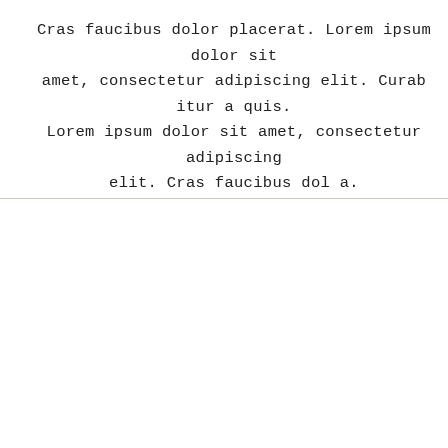Cras faucibus dolor placerat. Lorem ipsum dolor sit amet, consectetur adipiscing elit. Curab itur a quis. Lorem ipsum dolor sit amet, consectetur adipiscing elit. Cras faucibus dol a.
[Figure (illustration): Decorative script text 'get to know me' overlapping a warm-toned photograph showing a person near a gold arch mirror against a beige/taupe wall.]